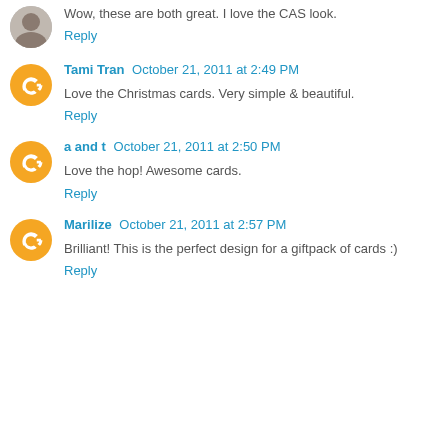Wow, these are both great. I love the CAS look.
Reply
Tami Tran  October 21, 2011 at 2:49 PM
Love the Christmas cards. Very simple & beautiful.
Reply
a and t  October 21, 2011 at 2:50 PM
Love the hop! Awesome cards.
Reply
Marilize  October 21, 2011 at 2:57 PM
Brilliant! This is the perfect design for a giftpack of cards :)
Reply